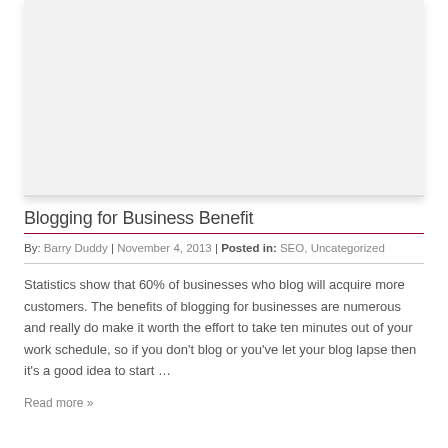[Figure (photo): Gray placeholder image area representing a blog post featured image]
Blogging for Business Benefit
By: Barry Duddy | November 4, 2013 | Posted in: SEO, Uncategorized
Statistics show that 60% of businesses who blog will acquire more customers. The benefits of blogging for businesses are numerous and really do make it worth the effort to take ten minutes out of your work schedule, so if you don't blog or you've let your blog lapse then it's a good idea to start …
Read more »